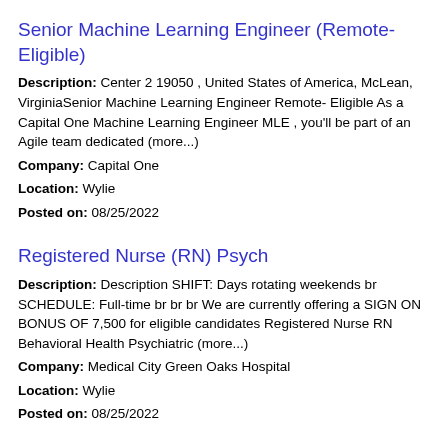Senior Machine Learning Engineer (Remote- Eligible)
Description: Center 2 19050 , United States of America, McLean, VirginiaSenior Machine Learning Engineer Remote- Eligible As a Capital One Machine Learning Engineer MLE , you'll be part of an Agile team dedicated (more...) Company: Capital One Location: Wylie Posted on: 08/25/2022
Registered Nurse (RN) Psych
Description: Description SHIFT: Days rotating weekends br SCHEDULE: Full-time br br br We are currently offering a SIGN ON BONUS OF 7,500 for eligible candidates Registered Nurse RN Behavioral Health Psychiatric (more...) Company: Medical City Green Oaks Hospital Location: Wylie Posted on: 08/25/2022